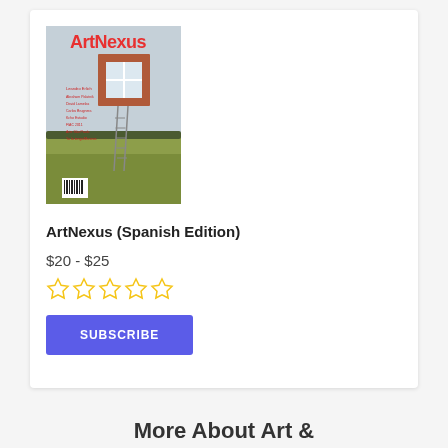[Figure (illustration): ArtNexus magazine cover showing a brick frame structure with a window and ladder in a field, with red ArtNexus logo at top]
ArtNexus (Spanish Edition)
$20 - $25
[Figure (other): Five empty star rating icons in gold/yellow outline]
SUBSCRIBE
More About Art &